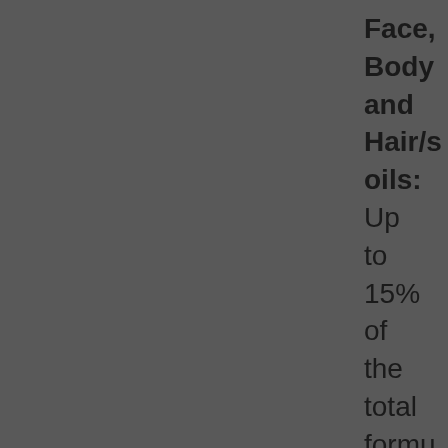Face, Body and Hair/scalp oils: Up to 15% of the total formula. Blend with our